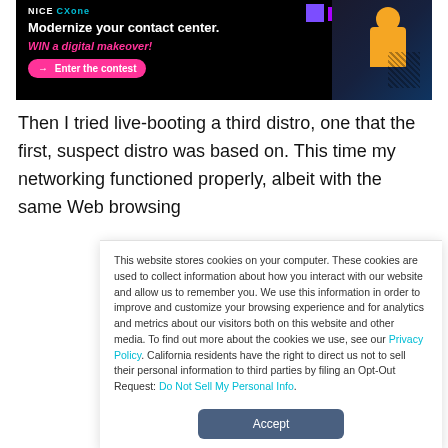[Figure (illustration): Advertisement banner for NICE CXone contact center software. Black background with text 'Modernize your contact center. WIN a digital makeover!' and a pink 'Enter the contest' button. Decorative purple squares and a person wearing yellow headphones on the right.]
Then I tried live-booting a third distro, one that the first, suspect distro was based on. This time my networking functioned properly, albeit with the same Web browsing
This website stores cookies on your computer. These cookies are used to collect information about how you interact with our website and allow us to remember you. We use this information in order to improve and customize your browsing experience and for analytics and metrics about our visitors both on this website and other media. To find out more about the cookies we use, see our Privacy Policy. California residents have the right to direct us not to sell their personal information to third parties by filing an Opt-Out Request: Do Not Sell My Personal Info.
Accept